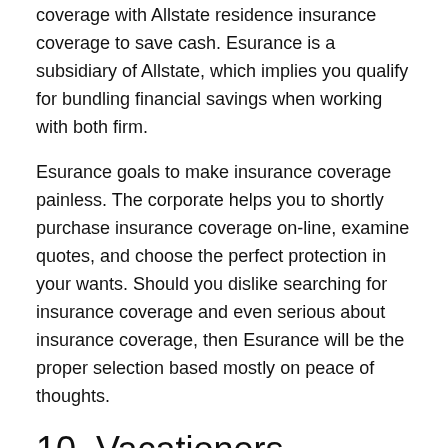coverage with Allstate residence insurance coverage to save cash. Esurance is a subsidiary of Allstate, which implies you qualify for bundling financial savings when working with both firm.
Esurance goals to make insurance coverage painless. The corporate helps you to shortly purchase insurance coverage on-line, examine quotes, and choose the perfect protection in your wants. Should you dislike searching for insurance coverage and even serious about insurance coverage, then Esurance will be the proper selection based mostly on peace of thoughts.
10. Vacationers
Vacationers gives residence and auto insurance coverage bundles for householders and renters. Vacationers claims policyholders may save as much as 10% on automobile insurance coverage by bundling residence and auto insurance